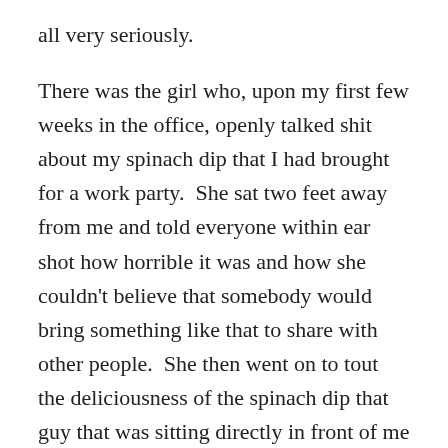all very seriously.
There was the girl who, upon my first few weeks in the office, openly talked shit about my spinach dip that I had brought for a work party.  She sat two feet away from me and told everyone within ear shot how horrible it was and how she couldn't believe that somebody would bring something like that to share with other people.  She then went on to tout the deliciousness of the spinach dip that guy that was sitting directly in front of me brought.  This went on for a good ten minutes while I sat staring at my computer, too flustered to even say anything.  The only bright side of this exchange was that at the end of the ten minutes it turned out that the terrible-awful-abomination dip actually belonged to the guy sitting in front of me, while my dip was the one that she sang the praises of.